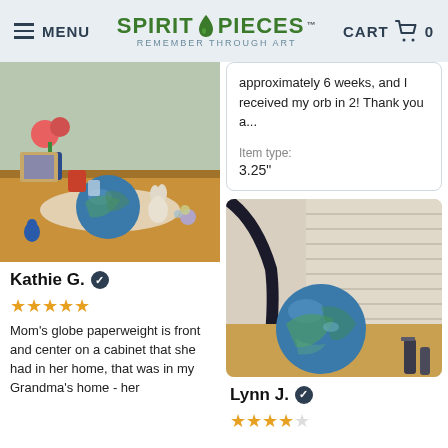MENU | SPIRIT PIECES - REMEMBER THROUGH ART | CART 0
[Figure (photo): Photo of a wooden cabinet with decorative items including a blue glass globe paperweight, a ceramic rabbit, a horse figurine, flowers, and various knick-knacks]
Kathie G. ✓
★★★★★
Mom's globe paperweight is front and center on a cabinet that she had in her home, that was in my Grandma's home - her
approximately 6 weeks, and I received my orb in 2! Thank you a...
Item type:
3.25"
[Figure (photo): Photo of a blue-green glass orb/globe paperweight on a wooden surface next to a lamp stand and small bottles]
Lynn J. ✓
★★★★★